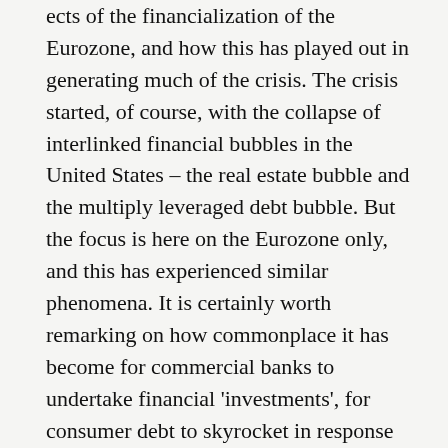ects of the financialization of the Eurozone, and how this has played out in generating much of the crisis. The crisis started, of course, with the collapse of interlinked financial bubbles in the United States – the real estate bubble and the multiply leveraged debt bubble. But the focus is here on the Eurozone only, and this has experienced similar phenomena. It is certainly worth remarking on how commonplace it has become for commercial banks to undertake financial 'investments', for consumer debt to skyrocket in response to stagnating real wages and an increased dependency on credit in the open market for previously 'shielded' consumption like education and housing, and to note the enormous expansions of fictitious capital luring in investment from institutional investors, domestic corporations, and so forth, exposing